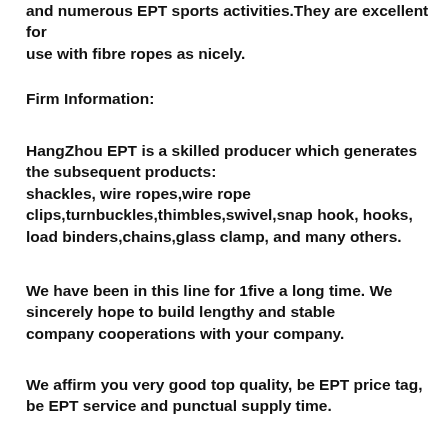and numerous EPT sports activities.They are excellent for use with fibre ropes as nicely.
Firm Information:
HangZhou EPT is a skilled producer which generates the subsequent products: shackles, wire ropes,wire rope clips,turnbuckles,thimbles,swivel,snap hook, hooks, load binders,chains,glass clamp, and many others.
We have been in this line for 1five a long time. We sincerely hope to build lengthy and stable company cooperations with your company.
We affirm you very good top quality, be EPT price tag, be EPT service and punctual supply time.